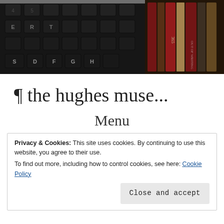[Figure (photo): Close-up photograph of a dark laptop keyboard on the left side and book spines including one labeled '365' on the right side, with dark background tones.]
¶ the hughes muse...
Menu
Privacy & Cookies: This site uses cookies. By continuing to use this website, you agree to their use.
To find out more, including how to control cookies, see here: Cookie Policy
[Close and accept]